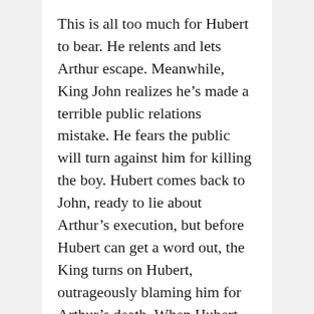This is all too much for Hubert to bear. He relents and lets Arthur escape. Meanwhile, King John realizes he's made a terrible public relations mistake. He fears the public will turn against him for killing the boy. Hubert comes back to John, ready to lie about Arthur's execution, but before Hubert can get a word out, the King turns on Hubert, outrageously blaming him for Arthur's death. When Hubert protests that John